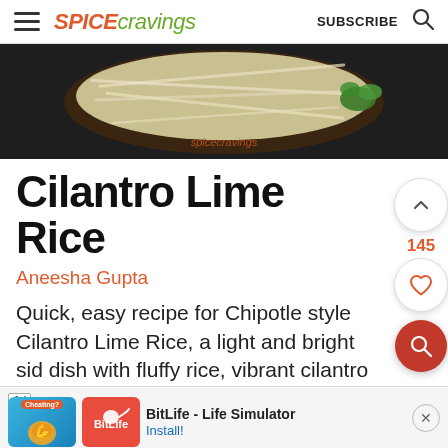SPICE cravings  SUBSCRIBE
[Figure (photo): Top-down photo of a dark bowl with cilantro lime rice, garnished with cilantro, watermarked with spicecravings]
Cilantro Lime Rice
Aneesha Gupta
Quick, easy recipe for Chipotle style Cilantro Lime Rice, a light and bright side dish with fluffy rice, vibrant cilantro & zesty lime juice.
5 from 4 votes
[Figure (screenshot): Ad banner: BitLife - Life Simulator app advertisement with Install button]